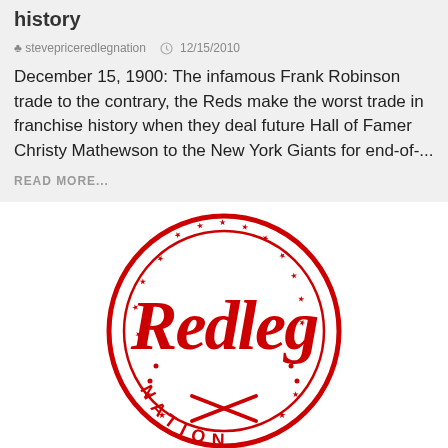history
stevepriceredlegnation   12/15/2010
December 15, 1900: The infamous Frank Robinson trade to the contrary, the Reds make the worst trade in franchise history when they deal future Hall of Famer Christy Mathewson to the New York Giants for end-of-...
READ MORE...
[Figure (logo): Redleg Nation circular red logo with crossed baseball bats and stars]